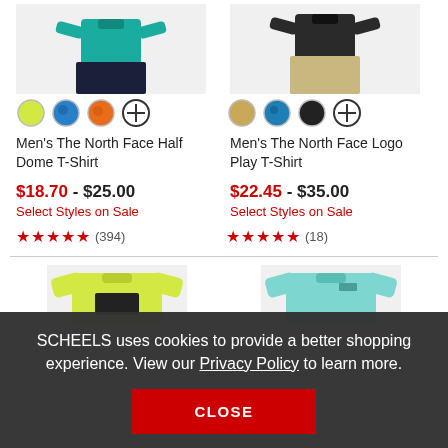[Figure (photo): Men's torso wearing teal shirt and dark navy shorts]
[Figure (photo): Men's torso wearing dark shirt and khaki pants]
Men's The North Face Half Dome T-Shirt
Men's The North Face Logo Play T-Shirt
$18.70 - $25.00
Select Styles on Sale
★★★★★ (394)
$22.45 - $35.00
Select Styles on Sale
★★★★★ (18)
[Figure (photo): Yellow long-sleeve t-shirt folded]
[Figure (photo): Aqua/teal t-shirt folded]
SCHEELS uses cookies to provide a better shopping experience. View our Privacy Policy to learn more.
CLOSE